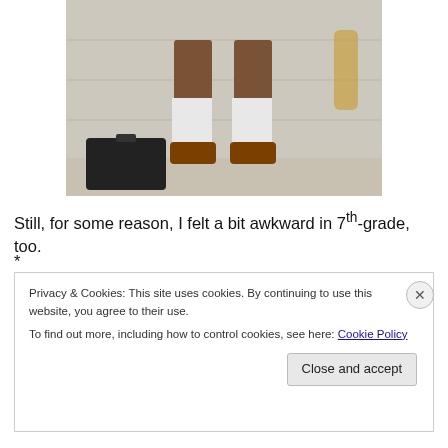[Figure (photo): Lower body of a person wearing white knee socks and brown shoes, with a dark suitcase/instrument case on the ground beside them, standing in front of a light-colored wall.]
Still, for some reason, I felt a bit awkward in 7th-grade, too.
*
Privacy & Cookies: This site uses cookies. By continuing to use this website, you agree to their use.
To find out more, including how to control cookies, see here: Cookie Policy
Close and accept